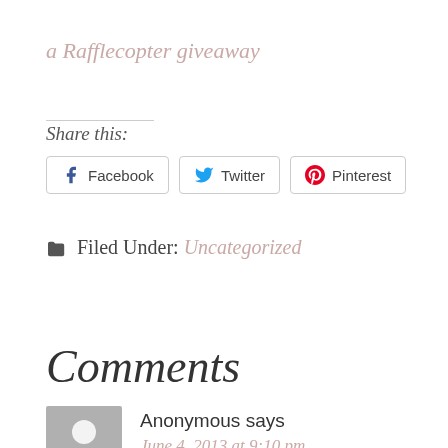a Rafflecopter giveaway
Share this:
Facebook  Twitter  Pinterest
Filed Under: Uncategorized
Comments
Anonymous says
June 4, 2013 at 9:10 pm